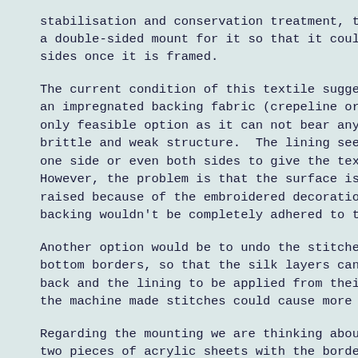stabilisation and conservation treatment, the a double-sided mount for it so that it could sides once it is framed.
The current condition of this textile suggest an impregnated backing fabric (crepeline or S only feasible option as it can not bear any s brittle and weak structure.  The lining seems one side or even both sides to give the texti However, the problem is that the surface is r raised because of the embroidered decorations backing wouldn't be completely adhered to the
Another option would be to undo the stitches bottom borders, so that the silk layers can b back and the lining to be applied from their the machine made stitches could cause more da
Regarding the mounting we are thinking about two pieces of acrylic sheets with the borders to be attached to acrylic.
I am just wondering if any one has similar ex silk textile in similarly poor and fragile co best technique is to provide an effective bac